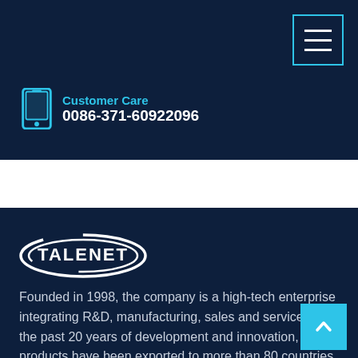Customer Care 0086-371-60922096
[Figure (logo): Talenet company logo — white ellipse swoosh around bold white TALENET text on dark navy background]
Founded in 1998, the company is a high-tech enterprise integrating R&D, manufacturing, sales and service. In the past 20 years of development and innovation, its products have been exported to more than 80 countries including Russia and Mongolia, and long-term cooperative relations have been